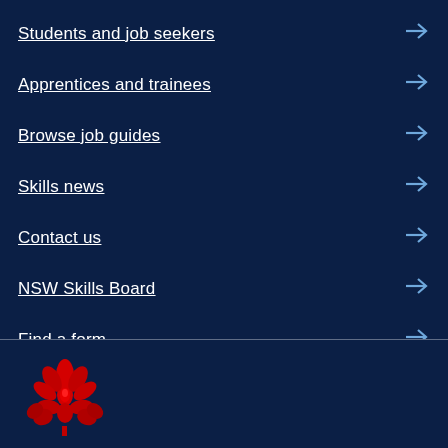Students and job seekers
Apprentices and trainees
Browse job guides
Skills news
Contact us
NSW Skills Board
Find a form
[Figure (logo): NSW Government waratah flower logo in red, partially visible at bottom of page]